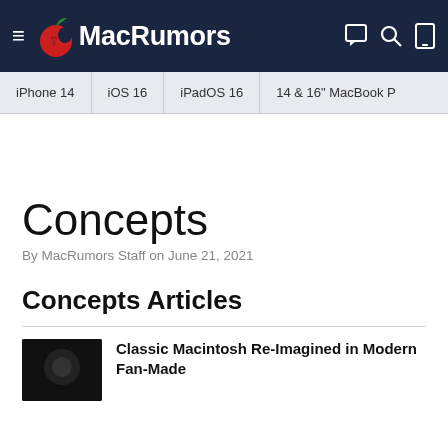MacRumors
iPhone 14 | iOS 16 | iPadOS 16 | 14 & 16" MacBook P
Concepts
By MacRumors Staff on June 21, 2021
Concepts Articles
Classic Macintosh Re-Imagined in Modern Fan-Made